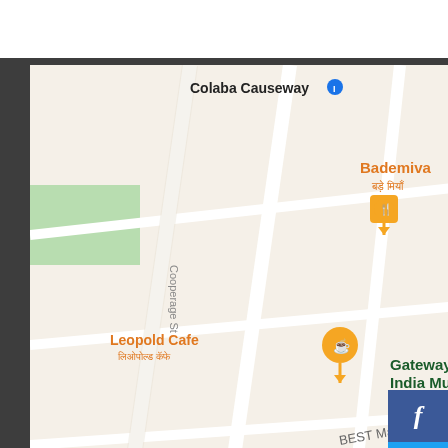[Figure (map): Google Maps screenshot showing Colaba area of Mumbai, India, including landmarks such as Colaba Causeway, Gate of India, Bademiva, Leopold Cafe, Gateway Of India Mumbai, Swami Vivekanand, BEST Marg, Henry Rd, Walton Rd, Colaba Market, and DevOpsEra. Blue waterway visible on the right side of the map.]
Contact with Us
HOTEL AND RESTAURANT ASSOCIATION ( WESTERN INDIA )